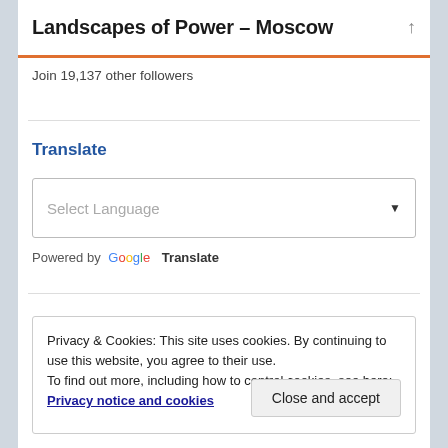Landscapes of Power – Moscow
Join 19,137 other followers
Translate
Select Language
Powered by Google Translate
Privacy & Cookies: This site uses cookies. By continuing to use this website, you agree to their use.
To find out more, including how to control cookies, see here: Privacy notice and cookies
Close and accept